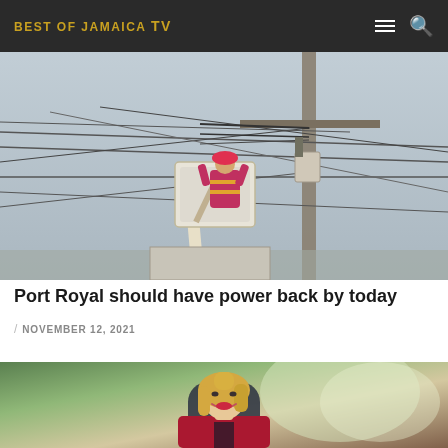BEST OF JAMAICA TV
[Figure (photo): Utility worker in a bucket lift working on overhead electrical wires and cables on a power pole]
Port Royal should have power back by today
/ NOVEMBER 12, 2021
[Figure (photo): Woman with blonde hair smiling, wearing a red blazer, seated in a dark office chair with greenery visible in the background]